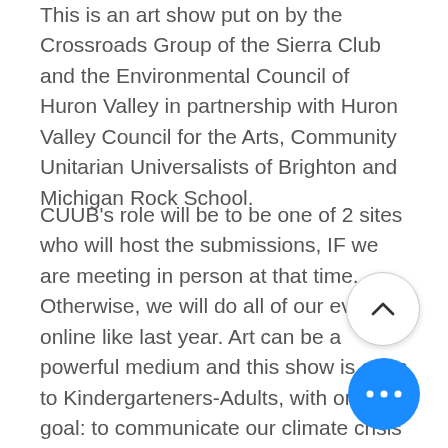This is an art show put on by the Crossroads Group of the Sierra Club and the Environmental Council of Huron Valley in partnership with Huron Valley Council for the Arts, Community Unitarian Universalists of Brighton and Michigan Rock School.
CUUB's role will be to be one of 2 sites who will host the submissions, IF we are meeting in person at that time. Otherwise, we will do all of our events online like last year. Art can be a powerful medium and this show is open to Kindergarteners-Adults, with one goal: to communicate our climate crisis and inspire people to act now. Please direct your questions to Lee Anzie, Sue Kelly, and Dave Beeman - all
[Figure (other): Scroll-up circular button with upward chevron arrow icon, white background with grey border]
[Figure (other): More options circular button with three horizontal dots, bright blue background]